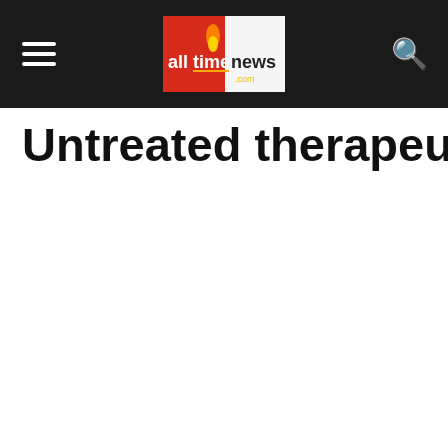alltimenews.com
Untreated therapeutic waste: A